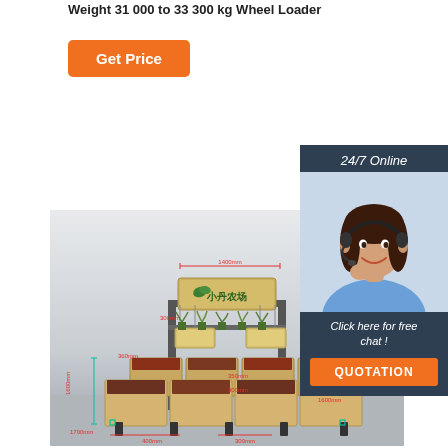Weight 31 000 to 33 300 kg Wheel Loader
Get Price
[Figure (other): 24/7 Online chat support box with photo of customer service representative wearing headset, text 'Click here for free chat!' and QUOTATION button]
[Figure (other): 3D render of a retail/supermarket vegetable display stand with wooden bin compartments and overhead signage showing dimensions in mm (1400mm wide, 300mm, 360mm, 350mm, 1600mm, 300mm, 1700mm, 400mm, 300mm)]